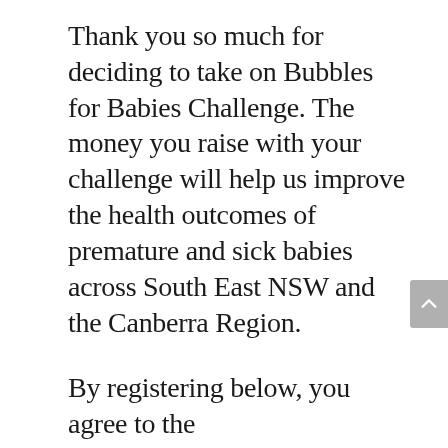Thank you so much for deciding to take on Bubbles for Babies Challenge. The money you raise with your challenge will help us improve the health outcomes of premature and sick babies across South East NSW and the Canberra Region.
By registering below, you agree to the